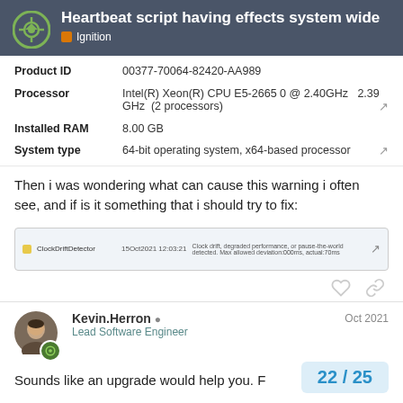Heartbeat script having effects system wide — Ignition
| Property | Value |
| --- | --- |
| Product ID | 00377-70064-82420-AA989 |
| Processor | Intel(R) Xeon(R) CPU E5-2665 0 @ 2.40GHz   2.39 GHz  (2 processors) |
| Installed RAM | 8.00 GB |
| System type | 64-bit operating system, x64-based processor |
Then i was wondering what can cause this warning i often see, and if is it something that i should try to fix:
[Figure (screenshot): Screenshot of a log entry showing ClockDriftDetector warning dated 15Oct2021 12:03:21 about clock drift, degraded performance, or pause-the-world detected.]
Kevin.Herron ◉  Lead Software Engineer  Oct 2021
Sounds like an upgrade would help you. F
22 / 25